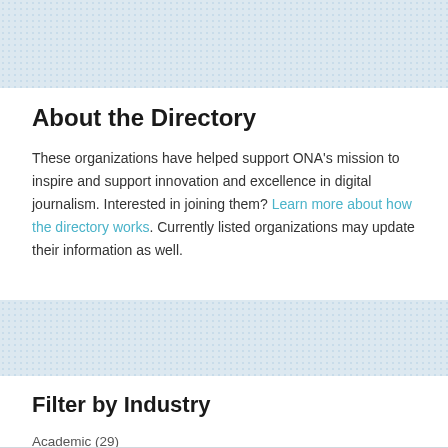[Figure (other): Light blue dotted/textured banner strip at the top of the page]
About the Directory
These organizations have helped support ONA's mission to inspire and support innovation and excellence in digital journalism. Interested in joining them? Learn more about how the directory works. Currently listed organizations may update their information as well.
[Figure (other): Light blue dotted/textured banner strip in the middle of the page]
Filter by Industry
Academic (29)